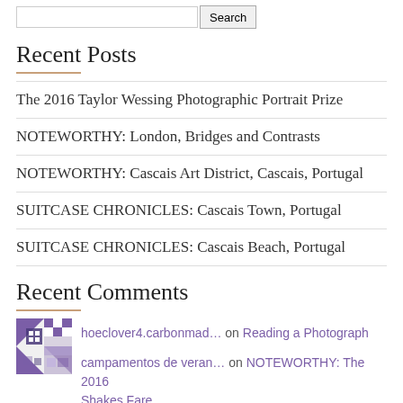Recent Posts
The 2016 Taylor Wessing Photographic Portrait Prize
NOTEWORTHY: London, Bridges and Contrasts
NOTEWORTHY: Cascais Art District, Cascais, Portugal
SUITCASE CHRONICLES: Cascais Town, Portugal
SUITCASE CHRONICLES: Cascais Beach, Portugal
Recent Comments
hoeclover4.carbonmad… on Reading a Photograph
campamentos de veran… on NOTEWORTHY: The 2016 Shakes Fare